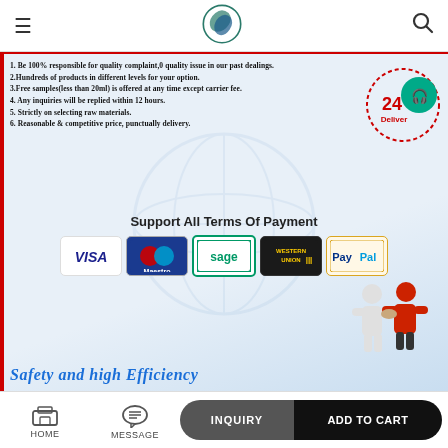≡  [logo]  🔍
1. Be 100% responsible for quality complaint,0 quality issue in our past dealings.
2.Hundreds of products in different levels for your option.
3.Free samples(less than 20ml)  is offered at any time except carrier fee.
4. Any inquiries will be replied within 12 hours.
5. Strictly on selecting raw materials.
6. Reasonable & competitive price, punctually delivery.
[Figure (infographic): 24h delivery badge with dashed clock border and headset icon]
Support All Terms Of Payment
[Figure (infographic): Payment logos: VISA, Maestro, sage, WESTERN UNION, PayPal]
[Figure (illustration): Two cartoon figures shaking hands - one white one red]
Safety and high Efficiency
HOME  MESSAGE  INQUIRY  ADD TO CART